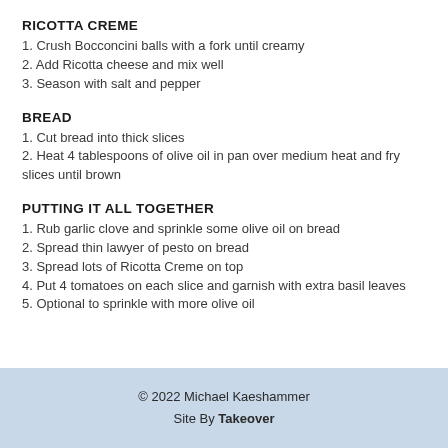RICOTTA CREME
1. Crush Bocconcini balls with a fork until creamy
2. Add Ricotta cheese and mix well
3. Season with salt and pepper
BREAD
1. Cut bread into thick slices
2. Heat 4 tablespoons of olive oil in pan over medium heat and fry slices until brown
PUTTING IT ALL TOGETHER
1. Rub garlic clove and sprinkle some olive oil on bread
2. Spread thin lawyer of pesto on bread
3. Spread lots of Ricotta Creme on top
4. Put 4 tomatoes on each slice and garnish with extra basil leaves
5. Optional to sprinkle with more olive oil
© 2022 Michael Kaeshammer
Site By Takeover